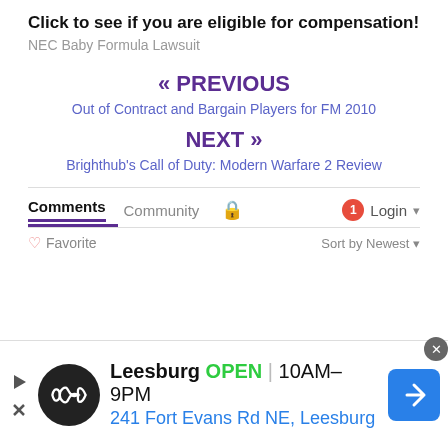Click to see if you are eligible for compensation!
NEC Baby Formula Lawsuit
« PREVIOUS
Out of Contract and Bargain Players for FM 2010
NEXT »
Brighthub's Call of Duty: Modern Warfare 2 Review
Comments  Community  🔒  1  Login
♡ Favorite   Sort by Newest
[Figure (infographic): Advertisement banner for Leesburg store: circular logo with infinity-like symbol, text reading 'Leesburg OPEN 10AM-9PM 241 Fort Evans Rd NE, Leesburg', blue navigation arrow icon on right, play/close buttons on left]